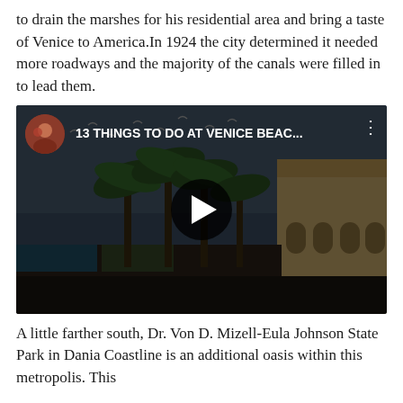to drain the marshes for his residential area and bring a taste of Venice to America.In 1924 the city determined it needed more roadways and the majority of the canals were filled in to lead them.
[Figure (screenshot): YouTube video thumbnail for '13 THINGS TO DO AT VENICE BEAC...' showing a darkened Venice Beach street scene with palm trees, shops, and a large building. A circular profile photo appears in the top-left, and a play button is centered on the image.]
A little farther south, Dr. Von D. Mizell-Eula Johnson State Park in Dania Coastline is an additional oasis within this metropolis. This